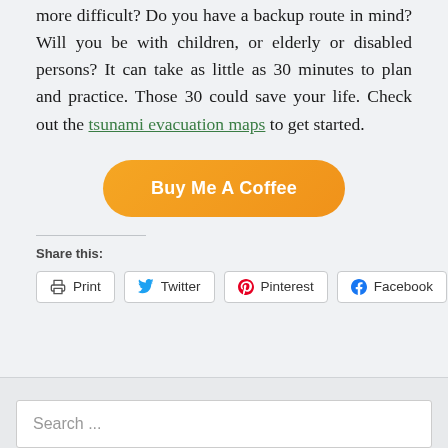more difficult? Do you have a backup route in mind? Will you be with children, or elderly or disabled persons? It can take as little as 30 minutes to plan and practice. Those 30 could save your life. Check out the tsunami evacuation maps to get started.
[Figure (other): Orange rounded button labeled 'Buy Me A Coffee']
Share this:
Print
Twitter
Pinterest
Facebook
Search ...